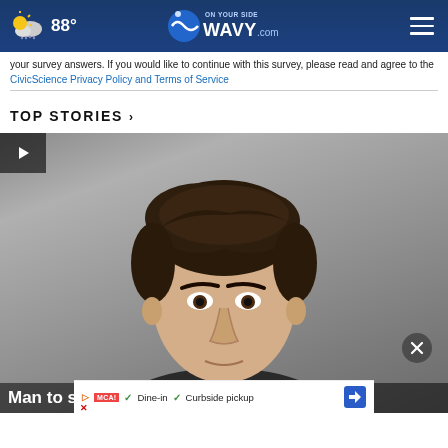88° | 10 ON YOUR SIDE WAVY.com
your survey answers. If you would like to continue with this survey, please read and agree to the CivicScience Privacy Policy and Terms of Service
TOP STORIES ›
[Figure (photo): Mugshot photo of a young man with dark wavy hair against a gray background, with a video play button overlay in the top-left corner. An advertisement overlay at the bottom shows 'Dine-in ✓ Curbside pickup' with a close X button.]
Man to serve more than 20 years